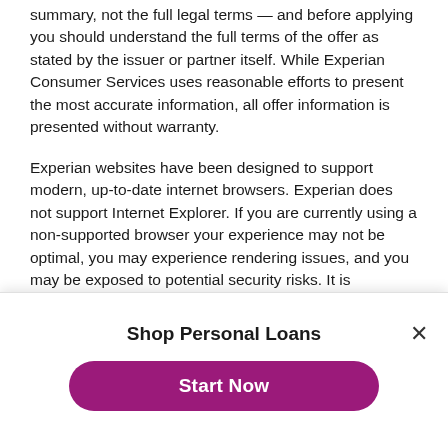summary, not the full legal terms — and before applying you should understand the full terms of the offer as stated by the issuer or partner itself. While Experian Consumer Services uses reasonable efforts to present the most accurate information, all offer information is presented without warranty.
Experian websites have been designed to support modern, up-to-date internet browsers. Experian does not support Internet Explorer. If you are currently using a non-supported browser your experience may not be optimal, you may experience rendering issues, and you may be exposed to potential security risks. It is recommended that you upgrade to the most recent browser version.
© 2022 All rights reserved. Experian. Experian and the Experian trademarks used herein are trademarks or registered trademarks of Experian and its affiliates. The use of any other trade name, copyright, or trademark is for identification and reference purposes
Shop Personal Loans
Start Now